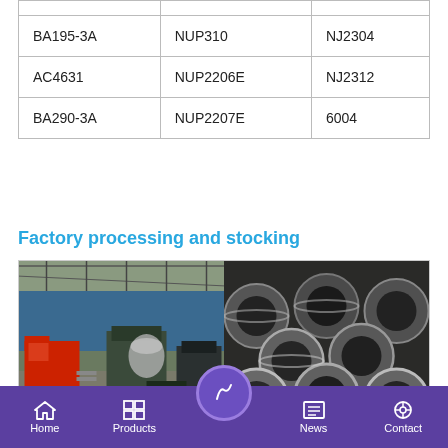|  |  |  |
| BA195-3A | NUP310 | NJ2304 |
| AC4631 | NUP2206E | NJ2312 |
| BA290-3A | NUP2207E | 6004 |
Factory processing and stocking
[Figure (photo): Two factory photos side by side: left shows a factory floor with a red forklift and industrial machinery; right shows stacked cylindrical metal bearings/rings viewed from the ends.]
Home   Products   [center icon]   News   Contact